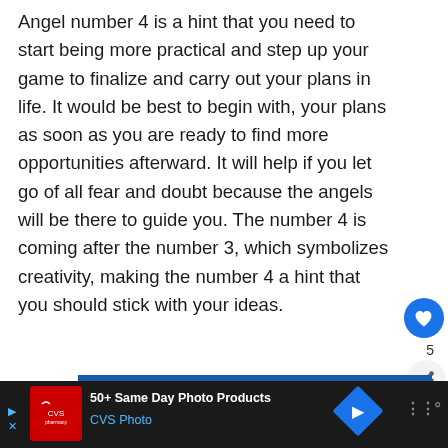Angel number 4 is a hint that you need to start being more practical and step up your game to finalize and carry out your plans in life. It would be best to begin with, your plans as soon as you are ready to find more opportunities afterward. It will help if you let go of all fear and doubt because the angels will be there to guide you. The number 4 is coming after the number 3, which symbolizes creativity, making the number 4 a hint that you should stick with your ideas.
[Figure (other): Blue advertisement banner with close X button]
[Figure (infographic): Bottom navigation bar with CVS Pharmacy advertisement: '50+ Same Day Photo Products' and 'CVS Photo', with blue diamond arrow icon and MW° logo on right]